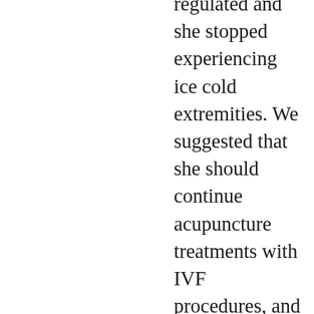regulated and she stopped experiencing ice cold extremities. We suggested that she should continue acupuncture treatments with IVF procedures, and in four months she was pregnant. Ten months later she gave birth to a healthy baby. Some physicians have tried IVF as many as five times without any results. Many of them after combining IVF with acupuncture treatment became pregnant too. We've had a patient from Australia that told us she tried IVF 18 times without any results, which is far too many times for one person to try. If the body is not well balanced and not